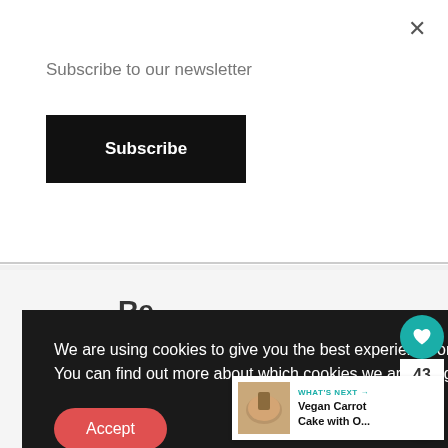Subscribe to our newsletter
Subscribe
We are using cookies to give you the best experience on our website.
You can find out more about which cookies we are using or switch them off in settings.
Accept
I hope you enjoy it Adriana.
Reply
WHAT'S NEXT →
Vegan Carrot Cake with O...